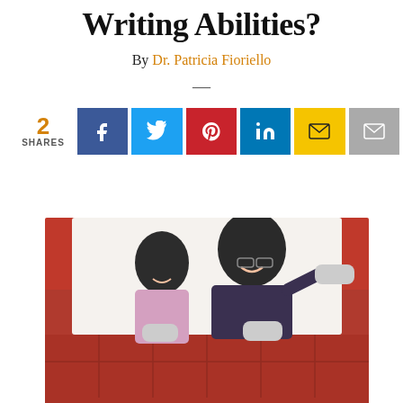Writing Abilities?
By Dr. Patricia Fioriello
—
2 SHARES [social share buttons: Facebook, Twitter, Pinterest, LinkedIn, Email (yellow), Email (gray)]
[Figure (photo): A father and young daughter sitting on a red couch, both smiling and holding video game controllers.]